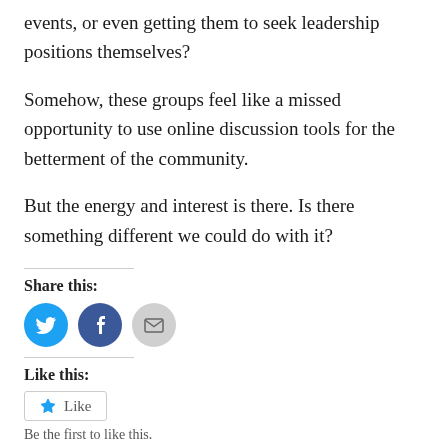events, or even getting them to seek leadership positions themselves?
Somehow, these groups feel like a missed opportunity to use online discussion tools for the betterment of the community.
But the energy and interest is there. Is there something different we could do with it?
Share this:
[Figure (infographic): Twitter, Facebook, and email share icon buttons]
Like this:
[Figure (infographic): Like button with star icon]
Be the first to like this.